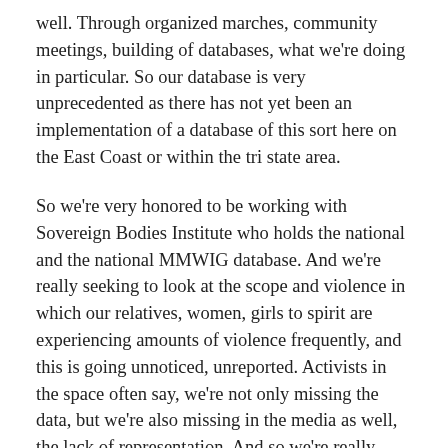well. Through organized marches, community meetings, building of databases, what we're doing in particular. So our database is very unprecedented as there has not yet been an implementation of a database of this sort here on the East Coast or within the tri state area.
So we're very honored to be working with Sovereign Bodies Institute who holds the national and the national MMWIG database. And we're really seeking to look at the scope and violence in which our relatives, women, girls to spirit are experiencing amounts of violence frequently, and this is going unnoticed, unreported. Activists in the space often say, we're not only missing the data, but we're also missing in the media as well, the lack of representation. And so we're really seeking through this database to highlight the crisis in which we see in our communities, internationally.